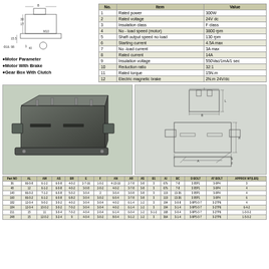[Figure (schematic): Mechanical schematic showing dimensions: 1T, 30, B, 15.5, M10, Φ16, 98, 3, 40]
Motor Parameter
Motor With Brake
Gear Box With Clutch
| No. | Item | Value |
| --- | --- | --- |
| 1 | Rated power | 300W |
| 2 | Rated voltage | 24V dc |
| 3 | Insulation class | F class |
| 4 | No - load speed (motor) | 3800 rpm |
| 5 | Shaft output speed no load | 130 rpm |
| 6 | Starting current | 4.5A max |
| 7 | No -load current | 3A max |
| 8 | Rated current | 14A |
| 9 | Insulation voltage | 550Vac/1mA/1 sec |
| 10 | Reduction ratio | 32:1 |
| 11 | Rated torque | 15N.m |
| 12 | Electric magnetic brake | 2N.m 24V/dc |
[Figure (photo): Photo of rectangular motor/gearbox unit with mounting flanges and pins]
[Figure (engineering-diagram): Engineering dimensional drawing showing front and side views with dimensions]
| Part NO | AL | AM | AS | BR | E | F | AN | AR | AS | B1 | AI | BC | D BOLT | AT BOLT | APPROX WT(LBS) |
| --- | --- | --- | --- | --- | --- | --- | --- | --- | --- | --- | --- | --- | --- | --- | --- |
| 36 | 66-0-8 | 6-1-2 | 6-0-8 | 4-0-2 | 2-7-16 | 1-0-2 | 4-13-16 | 2-7-8 | 3-8 | 3 | 67b | 7-8 | 3.95P1 | 3-9P4 | 3 |
| 48 | 12 | 6-1-2 | 6-0-8 | 4-0-2 | 3-0-8 | 2-0-2 | 4-0-2 | 3-7-8 | 3-8 | 3 | 67b | 7-8 | 3.95P1 | 3-9P4 | 4 |
| 140 | 66-0-2 | 7-1-2 | 6-0-8 | 5-0-2 | 3-0-4 | 2 | 3-0-4 | 3-0-8 | 3-8 | 3 | 119 | 13-36 | 3.95P1 | 3-9P4 | 4 |
| 160 | 66-0-2 | 6-1-2 | 6-0-8 | 6-8-2 | 3-0-4 | 3-0-2 | 6-0-4 | 3-7-8 | 3-8 | 3 | 119 | 13-36 | 3.95P1 | 3-9P4 | 6 |
| 182 | 12-0-4 | 9-0-2 | 3-0-2 | 4-0-2 | 3-0-4 | 3-0-4 | 4-0-2 | 6-1-4 | 1-2 | 3 | 194 | 3-0-8 | 3-9P5-0-7 | 3-27P6 | 4 |
| 184 | 12-0-4 | 10-0-2 | 3-0-2 | 7-0-2 | 3-0-4 | 3-0-4 | 4-0-2 | 6-1-4 | 1-2 | 3 | 194 | 3-1-4 | 3-9P5-0-7 | 3-27P6 | 6-4-2 |
| 211 | 15 | 11 | 3-0-4 | 7-0-2 | 4-0-4 | 2-0-4 | 6-1-4 | 6-0-4 | 1-2 | 3-1-2 | 168 | 3-0-4 | 3-9P5-0-7 | 3-27P6 | 1-0-0-2 |
| 248 | 15 | 12-0-2 | 3-2-4 | 9 | 4-0-4 | 3-0-2 | 8-0-4 | 9-1-2 | 1-2 | 3 | 364 | 3-1-4 | 3-9P5-0-7 | 3-27P6 | 1-5-0-2 |